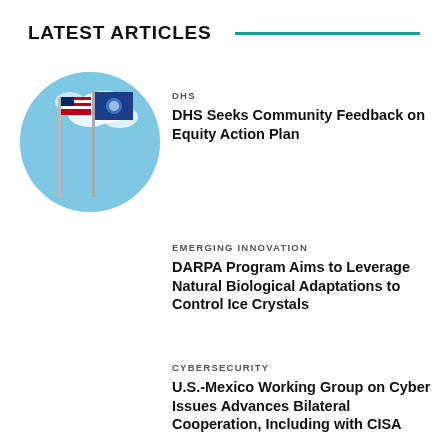LATEST ARTICLES
[Figure (photo): Circular photo of American flag and DHS flag against a blue sky]
DHS
DHS Seeks Community Feedback on Equity Action Plan
EMERGING INNOVATION
DARPA Program Aims to Leverage Natural Biological Adaptations to Control Ice Crystals
CYBERSECURITY
U.S.-Mexico Working Group on Cyber Issues Advances Bilateral Cooperation, Including with CISA